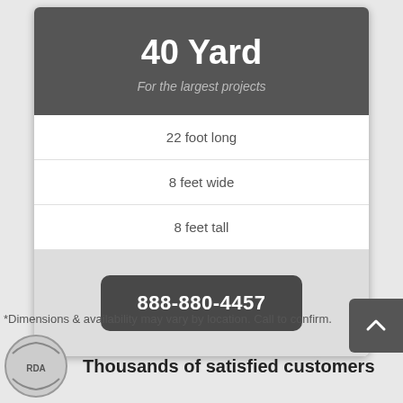40 Yard
For the largest projects
22 foot long
8 feet wide
8 feet tall
888-880-4457
*Dimensions & availability may vary by location. Call to confirm.
Thousands of satisfied customers